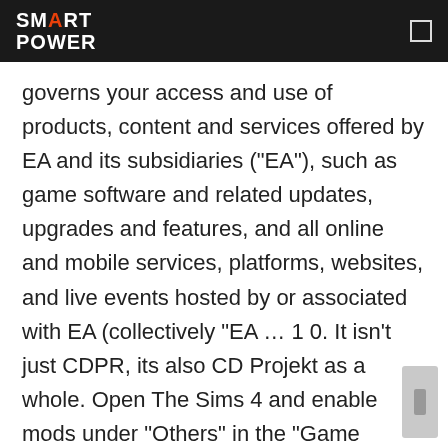SMART POWER
governs your access and use of products, content and services offered by EA and its subsidiaries ("EA"), such as game software and related updates, upgrades and features, and all online and mobile services, platforms, websites, and live events hosted by or associated with EA (collectively "EA … 1 0. It isn't just CDPR, its also CD Projekt as a whole. Open The Sims 4 and enable mods under "Others" in the "Game Options" menu. - Claw Hammer - 3D model by Ilya.Polischuk (@Ilya.Polischuk) [005365d] Reward your dedication. 9mo. Membership gives you more of your favorite Electronic Arts games – more rewards, more exclusive trials, and more discounts. If it is your first time lacing up the skates, watch this tutorial video to learn the basics of skating and you will be carving up the ice in no time. ... it won't work with my